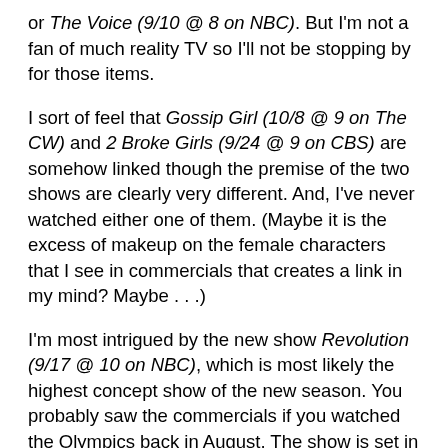or The Voice (9/10 @ 8 on NBC). But I'm not a fan of much reality TV so I'll not be stopping by for those items.
I sort of feel that Gossip Girl (10/8 @ 9 on The CW) and 2 Broke Girls (9/24 @ 9 on CBS) are somehow linked though the premise of the two shows are clearly very different. And, I've never watched either one of them. (Maybe it is the excess of makeup on the female characters that I see in commercials that creates a link in my mind? Maybe . . .)
I'm most intrigued by the new show Revolution (9/17 @ 10 on NBC), which is most likely the highest concept show of the new season. You probably saw the commercials if you watched the Olympics back in August. The show is set in a post blackout United States where people are trying to rebuild civilization, find loved ones, defeat clans, and not make you think of Mad Max. I wasn't sold at first on the idea of the show . . . but then I saw that Giancarlo Esposito was involved . . . and then I found out that J.J. Abrams was one of the executive producers. Well, that was all I needed to hear. Even though I was sort of worried to read quotes that suggested Revolutions was "Game of Thrones against an